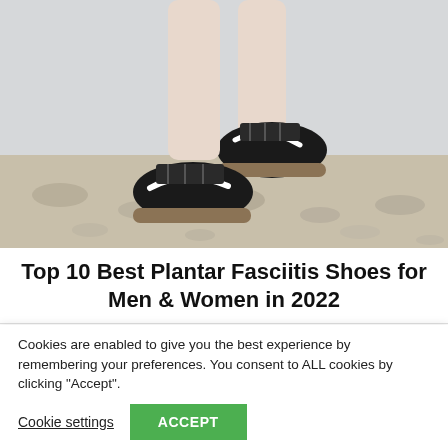[Figure (photo): Photo of a person's legs wearing black Nike sneakers running or jumping on a sandy beach. The legs are pale, the shoes are black with a white Nike swoosh. Sandy beach with pebbles in the background.]
Top 10 Best Plantar Fasciitis Shoes for Men & Women in 2022
Cookies are enabled to give you the best experience by remembering your preferences. You consent to ALL cookies by clicking "Accept".